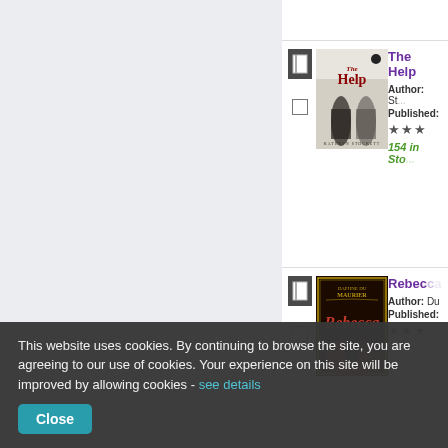[Figure (screenshot): Book listing entry for 'The Help' by Kathryn Stockkett. Shows book cover image, author label, published label, star rating (3 stars), and '154 in Stock' indicator in green. Checkbox and book icon on left.]
[Figure (screenshot): Book listing entry for 'Rebecca' by Daphne du Maurier. Shows book cover image, author label, published label, and star rating (3 stars). Checkbox and book icon on left.]
This website uses cookies. By continuing to browse the site, you are agreeing to our use of cookies. Your experience on this site will be improved by allowing cookies - see details